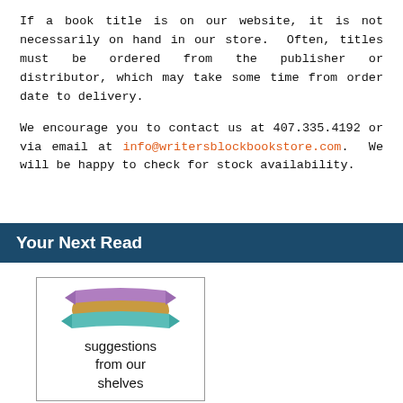If a book title is on our website, it is not necessarily on hand in our store.  Often, titles must be ordered from the publisher or distributor, which may take some time from order date to delivery.

We encourage you to contact us at 407.335.4192 or via email at info@writersblockbookstore.com.  We will be happy to check for stock availability.
Your Next Read
[Figure (illustration): Book cover illustration with a colorful striped ribbon/banner graphic on top and handwritten-style text reading 'suggestions from our shelves' below, all inside a bordered rectangle.]